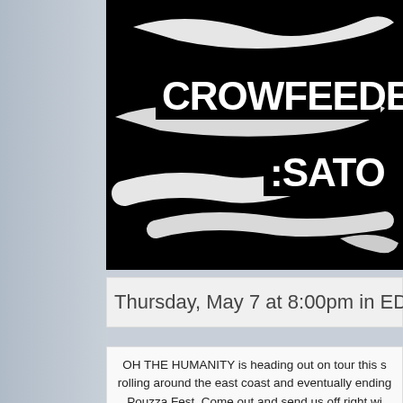[Figure (photo): Black and white poster with bold text 'CROWFEEDER' and ':SATO' on a black background with white brushstroke paint strokes]
Thursday, May 7 at 8:00pm in EDT
OH THE HUMANITY is heading out on tour this s rolling around the east coast and eventually ending Pouzza Fest. Come out and send us off right wi punk, funk and hardcore!